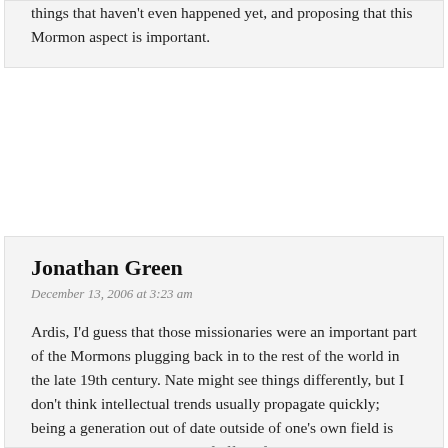things that haven't even happened yet, and proposing that this Mormon aspect is important.
Jonathan Green
December 13, 2006 at 3:23 am
Ardis, I'd guess that those missionaries were an important part of the Mormons plugging back in to the rest of the world in the late 19th century. Nate might see things differently, but I don't think intellectual trends usually propagate quickly; being a generation out of date outside of one's own field is probably the standard state of affairs for most people. In the narrow specialty I know best, for example, there has been some very good work published recently, while the older standard